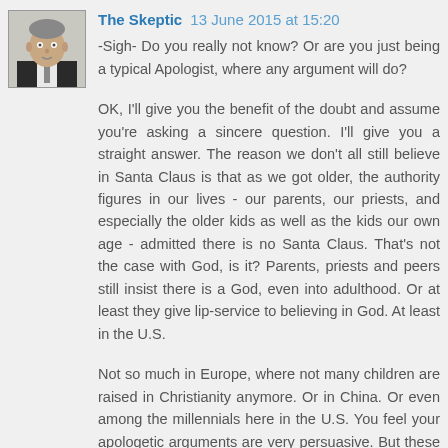[Figure (photo): Avatar photo of a man in a suit, grayscale/color headshot]
The Skeptic 13 June 2015 at 15:20
-Sigh- Do you really not know? Or are you just being a typical Apologist, where any argument will do?
OK, I'll give you the benefit of the doubt and assume you're asking a sincere question. I'll give you a straight answer. The reason we don't all still believe in Santa Claus is that as we got older, the authority figures in our lives - our parents, our priests, and especially the older kids as well as the kids our own age - admitted there is no Santa Claus. That's not the case with God, is it? Parents, priests and peers still insist there is a God, even into adulthood. Or at least they give lip-service to believing in God. At least in the U.S.
Not so much in Europe, where not many children are raised in Christianity anymore. Or in China. Or even among the millennials here in the U.S. You feel your apologetic arguments are very persuasive. But these arguments are not